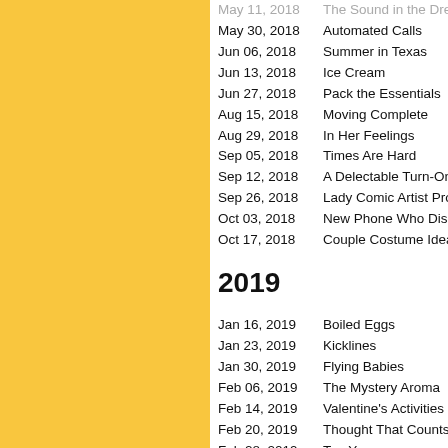May 11, 2018  The Sound in the Dress
May 30, 2018  Automated Calls
Jun 06, 2018  Summer in Texas
Jun 13, 2018  Ice Cream
Jun 27, 2018  Pack the Essentials
Aug 15, 2018  Moving Complete
Aug 29, 2018  In Her Feelings
Sep 05, 2018  Times Are Hard
Sep 12, 2018  A Delectable Turn-On
Sep 26, 2018  Lady Comic Artist Prob
Oct 03, 2018  New Phone Who Dis
Oct 17, 2018  Couple Costume Idea
2019
Jan 16, 2019  Boiled Eggs
Jan 23, 2019  Kicklines
Jan 30, 2019  Flying Babies
Feb 06, 2019  The Mystery Aroma
Feb 14, 2019  Valentine's Activities
Feb 20, 2019  Thought That Counts
Feb 28, 2019  Ten Years
Mar 06, 2019  Sank yoo, next.
Mar 14, 2019  Why People Go to Wor
Mar 20, 2019  What the Period Wants
Apr 03, 2019  Lend Me Your Ears
Apr 11, 2019  Mi Casa